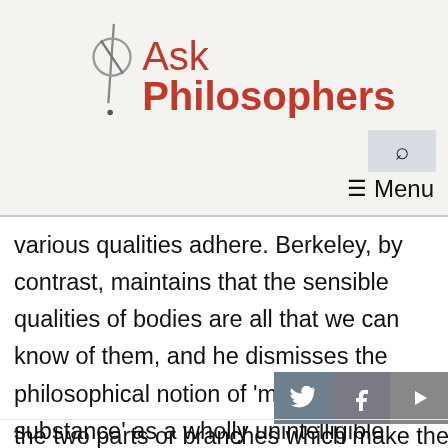Ask Philosophers
various qualities adhere. Berkeley, by contrast, maintains that the sensible qualities of bodies are all that we can know of them, and he dismisses the philosophical notion of 'material substance' as a wholly unintelligible abstraction: 'wher[e bo]de[s] the two parts or branches which make the